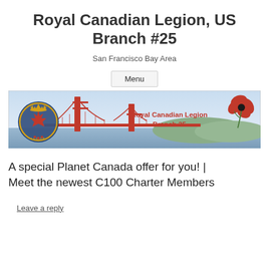Royal Canadian Legion, US Branch #25
San Francisco Bay Area
Menu
[Figure (illustration): Banner image showing the Golden Gate Bridge with the Royal Canadian Legion crest/badge on the left, a red poppy flower on the upper right, and text 'Royal Canadian Legion Branch 25' in red on the right side.]
A special Planet Canada offer for you!  |  Meet the newest C100 Charter Members
Leave a reply